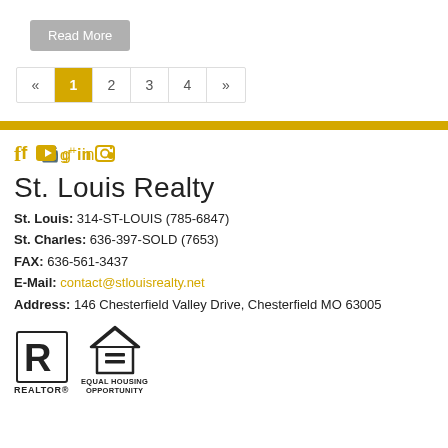Read More
« 1 2 3 4 »
[Figure (other): Social media icons: Facebook, YouTube, Google+, LinkedIn, Instagram]
St. Louis Realty
St. Louis: 314-ST-LOUIS (785-6847)
St. Charles: 636-397-SOLD (7653)
FAX: 636-561-3437
E-Mail: contact@stlouisrealty.net
Address: 146 Chesterfield Valley Drive, Chesterfield MO 63005
[Figure (logo): REALTOR logo and Equal Housing Opportunity logo]